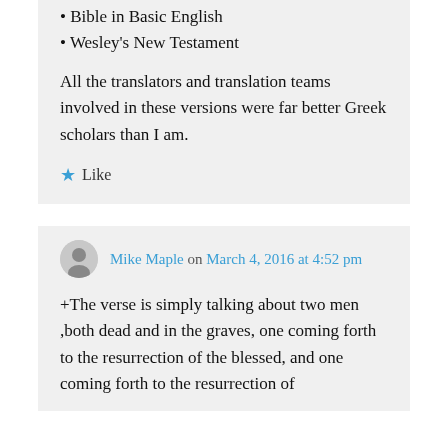• Bible in Basic English
• Wesley's New Testament
All the translators and translation teams involved in these versions were far better Greek scholars than I am.
★ Like
Mike Maple on March 4, 2016 at 4:52 pm
+The verse is simply talking about two men ,both dead and in the graves, one coming forth to the resurrection of the blessed, and one coming forth to the resurrection of